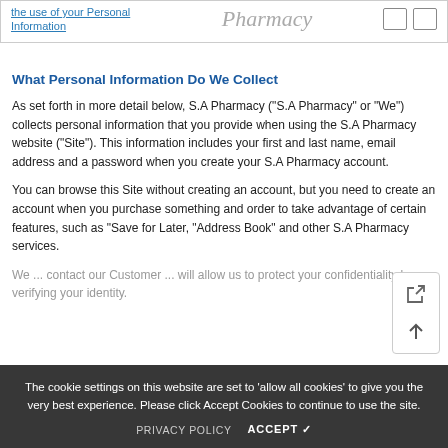| Navigation | Site Name | Icons |
| --- | --- | --- |
| the use of your Personal Information | Pharmacy |  |
What Personal Information Do We Collect
As set forth in more detail below, S.A Pharmacy ("S.A Pharmacy" or "We") collects personal information that you provide when using the S.A Pharmacy website ("Site"). This information includes your first and last name, email address and a password when you create your S.A Pharmacy account.
You can browse this Site without creating an account, but you need to create an account when you purchase something and order to take advantage of certain features, such as "Save for Later, "Address Book" and other S.A Pharmacy services.
We ... contact our Customer ... will allow us to protect your confidentiality by verifying your identity.
The cookie settings on this website are set to 'allow all cookies' to give you the very best experience. Please click Accept Cookies to continue to use the site.